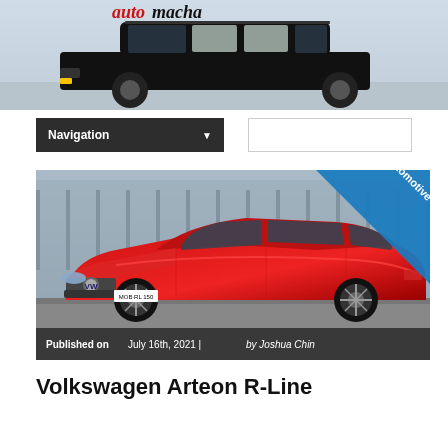[Figure (photo): Automacha website header banner with logo showing 'automacha' text in red/black and a black classic SUV/wagon car side view on grey background]
Navigation ▼
[Figure (photo): Red Volkswagen Arteon R-Line sedan car photographed from front-left angle in outdoor setting, with 'Automotive' category badge in blue triangle top-right corner, and 'Published on July 16th, 2021 | by Joshua Chin' overlay at bottom]
Volkswagen Arteon R-Line